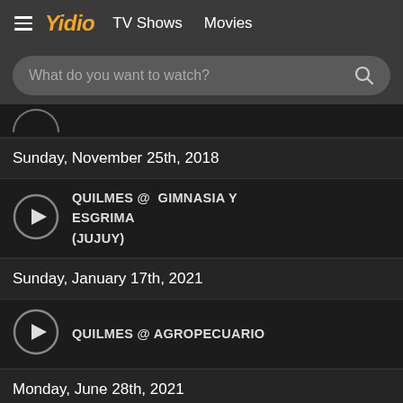Yidio  TV Shows  Movies
What do you want to watch?
Sunday, November 25th, 2018
QUILMES @ GIMNASIA Y ESGRIMA (JUJUY)
Sunday, January 17th, 2021
QUILMES @ AGROPECUARIO
Monday, June 28th, 2021
QUILMES @ NUEVA CHICAGO